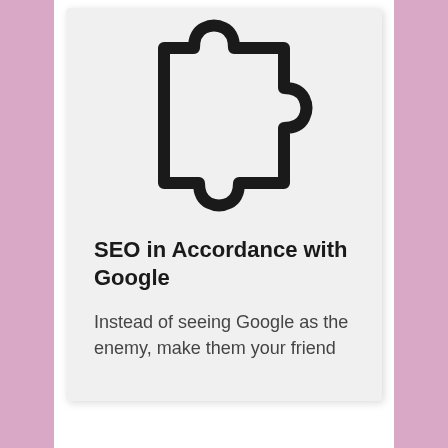[Figure (illustration): Black outline puzzle piece icon on light gray background]
SEO in Accordance with Google
Instead of seeing Google as the enemy, make them your friend